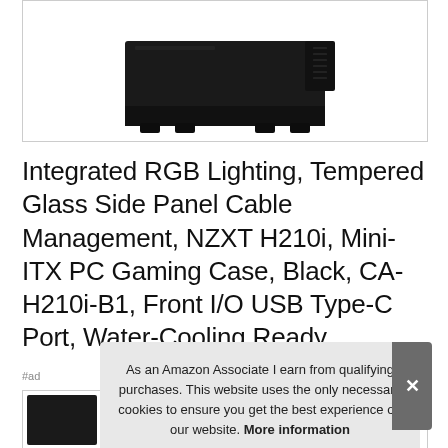[Figure (photo): Photo of NZXT H210i Mini-ITX PC gaming case in black, showing the bottom/side portion of the case on a white background]
Integrated RGB Lighting, Tempered Glass Side Panel Cable Management, NZXT H210i, Mini-ITX PC Gaming Case, Black, CA-H210i-B1, Front I/O USB Type-C Port, Water-Cooling Ready
#ad
As an Amazon Associate I earn from qualifying purchases. This website uses the only necessary cookies to ensure you get the best experience on our website. More information
[Figure (photo): Row of thumbnail images of NZXT H210i PC gaming case in black from various angles]